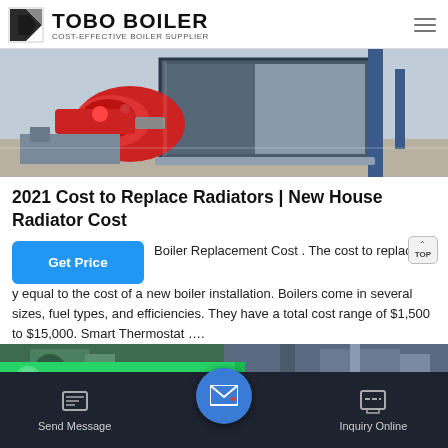TOBO BOILER — COST-EFFECTIVE BOILER SUPPLIER
[Figure (photo): Industrial boiler unit with red burner attachment, blue cabinet, photographed in a warehouse setting]
2021 Cost to Replace Radiators | New House Radiator Cost
Boiler Replacement Cost . The cost to replace a boiler is roughly equal to the cost of a new boiler installation. Boilers come in several sizes, fuel types, and efficiencies. They have a total cost range of $1,500 to $15,000. Smart Thermostat ….
[Figure (photo): Partial view of industrial boiler and piping equipment, with WhatsApp contact overlay at bottom]
Send Message   Inquiry Online